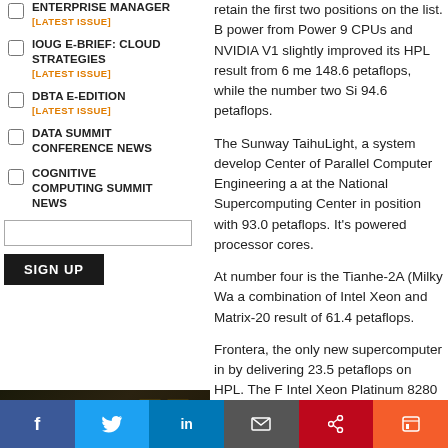ENTERPRISE MANAGER [LATEST ISSUE]
IOUG E-BRIEF: CLOUD STRATEGIES [LATEST ISSUE]
DBTA E-EDITION [LATEST ISSUE]
DATA SUMMIT CONFERENCE NEWS
COGNITIVE COMPUTING SUMMIT NEWS
retain the first two positions on the list. Both power from Power 9 CPUs and NVIDIA V1... slightly improved its HPL result from 6 me... 148.6 petaflops, while the number two Si... 94.6 petaflops.
The Sunway TaihuLight, a system develop... Center of Parallel Computer Engineering a... at the National Supercomputing Center in... position with 93.0 petaflops. It's powered... processor cores.
At number four is the Tianhe-2A (Milky Wa... a combination of Intel Xeon and Matrix-20... result of 61.4 petaflops.
Frontera, the only new supercomputer in... by delivering 23.5 petaflops on HPL. The F... Intel Xeon Platinum 8280 processors, is...
[Figure (advertisement): Pure Storage advertisement with hexagonal pattern and 'Solving' text on dark background]